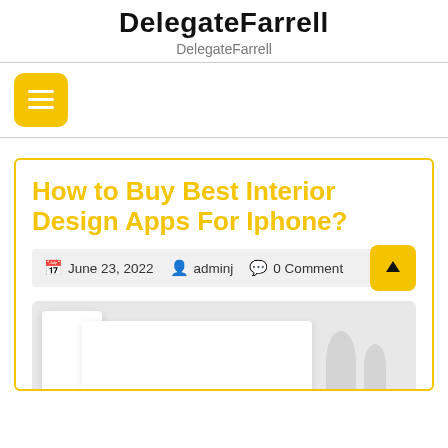DelegateFarrell
DelegateFarrell
[Figure (other): Yellow hamburger menu button icon with three white horizontal lines on a rounded yellow square background]
How to Buy Best Interior Design Apps For Iphone?
June 23, 2022   adminj   0 Comment
[Figure (photo): Partial view of white interior design objects/models on a gray background, cropped at bottom of page]